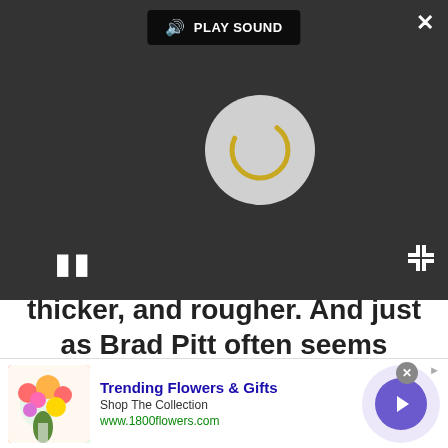[Figure (screenshot): Video player overlay with dark background, loading spinner, pause button, PLAY SOUND label, close button, and expand button]
thicker, and rougher. And just as Brad Pitt often seems liberated when his good looks are masked a bit, Dornan gives his best performance as a man who isn't sure whether or not he's the hero of his own life.
[Figure (other): Advertisement banner for 1800flowers.com showing colorful flower bouquet, Trending Flowers & Gifts heading, Shop The Collection text, www.1800flowers.com URL, and a purple arrow button]